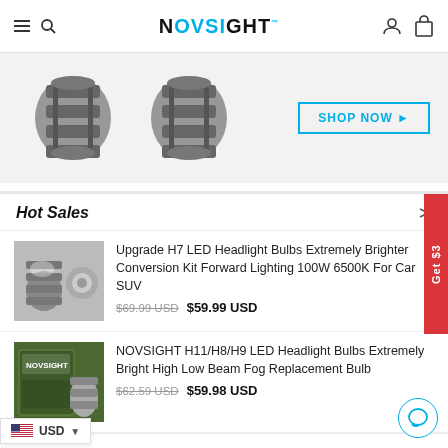NOVSIGHT
[Figure (photo): Two cylindrical LED headlight bulb adapters/kits side by side on a light grey background with 'SHOP NOW' button]
Hot Sales
Upgrade H7 LED Headlight Bulbs Extremely Brighter Conversion Kit Forward Lighting 100W 6500K For Car SUV
$69.99 USD  $59.99 USD
[Figure (photo): NOVSIGHT H11/H8/H9 LED Headlight Bulbs product photo]
NOVSIGHT H11/H8/H9 LED Headlight Bulbs Extremely Bright High Low Beam Fog Replacement Bulb
$62.59 USD  $59.98 USD